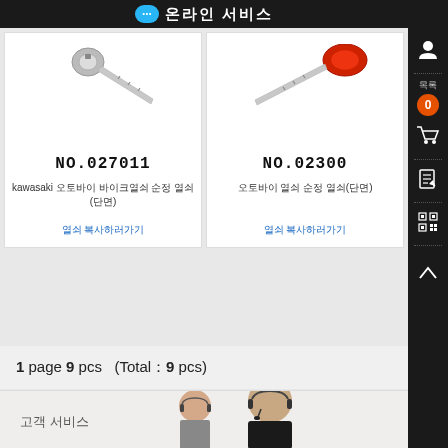온라인 서비스
[Figure (photo): Metal key blade (kawasaki), product NO.027011]
NO.027011
kawasaki 오토바이 바이크열쇠 순정 열쇠(단면)
열쇠 복사하러가기
[Figure (photo): Red motorcycle key, product NO.02300]
NO.02300
오토바이 열쇠 순정 열쇠(단면)
열쇠 복사하러가기
1 page 9 pcs   (Total：9 pcs)
[Figure (photo): Customer service representatives with headsets, smiling]